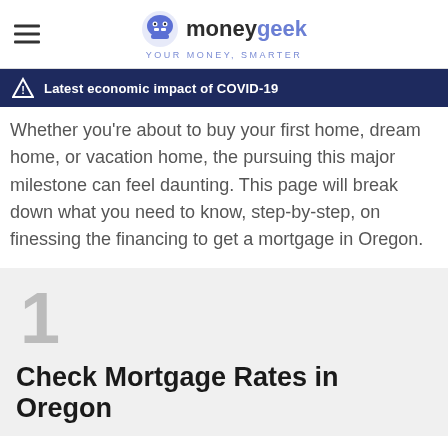moneygeek YOUR MONEY, SMARTER
Latest economic impact of COVID-19
Whether you're about to buy your first home, dream home, or vacation home, the pursuing this major milestone can feel daunting. This page will break down what you need to know, step-by-step, on finessing the financing to get a mortgage in Oregon.
1 Check Mortgage Rates in Oregon